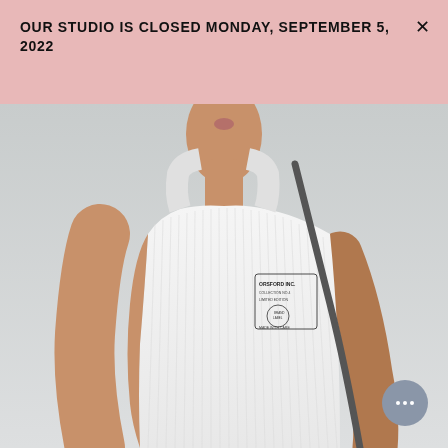OUR STUDIO IS CLOSED MONDAY, SEPTEMBER 5, 2022
CHUNKY KNIT TUBE SCARF SLATE GREY   $70.00 USD
[Figure (photo): Close-up fashion photo of a model wearing a white ribbed tank top with a small brand label on the chest, carrying a dark crossbody bag strap, neutral grey background.]